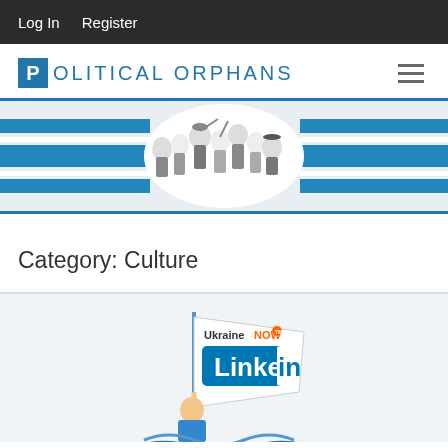Log In   Register
POLITICAL ORPHANS
[Figure (illustration): Political Orphans website banner with blue horizontal stripes and a black-and-white illustration of a group of people in period costumes in the center]
Category: Culture
[Figure (illustration): Ukraine Now LinkedIn promotional illustration showing a person holding a flag with the LinkedIn logo and Ukraine Now branding]